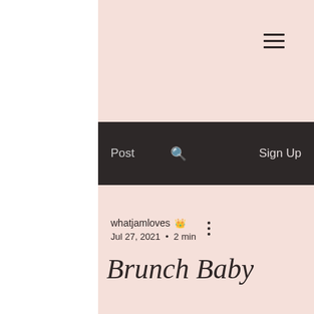≡ (hamburger menu icon)
Post   🔍   Sign Up
whatjamloves 👑
Jul 27, 2021  •  2 min
Brunch Baby